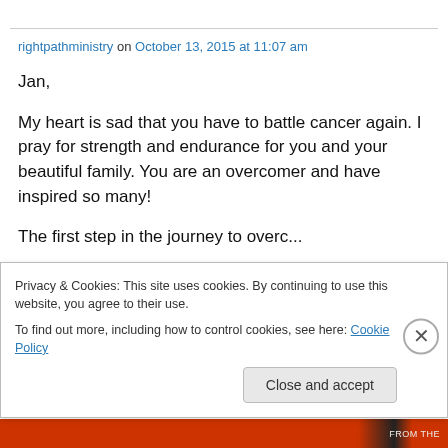rightpathministry on October 13, 2015 at 11:07 am
Jan,

My heart is sad that you have to battle cancer again. I pray for strength and endurance for you and your beautiful family. You are an overcomer and have inspired so many!
Privacy & Cookies: This site uses cookies. By continuing to use this website, you agree to their use.
To find out more, including how to control cookies, see here: Cookie Policy
Close and accept